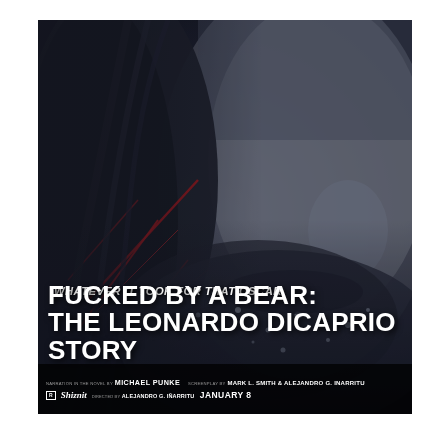[Figure (illustration): Movie poster parody showing a close-up of a bearded man's face (resembling Leonardo DiCaprio) with snow/ice on beard and dark wet hair, dramatic cold blue-grey tones, red scratches/branches visible on left side. Dark cinematic lighting.]
WHATEVER IT TOOK FOR THAT OSCAR.
FUCKED BY A BEAR: THE LEONARDO DiCAPRIO STORY
NARRATION IN THE NOVEL BY MICHAEL PUNKE  SCREENPLAY BY MARK L. SMITH & ALEJANDRO G. INARRITU  DIRECTED BY ALEJANDRO G. IÑARRITU  JANUARY 8